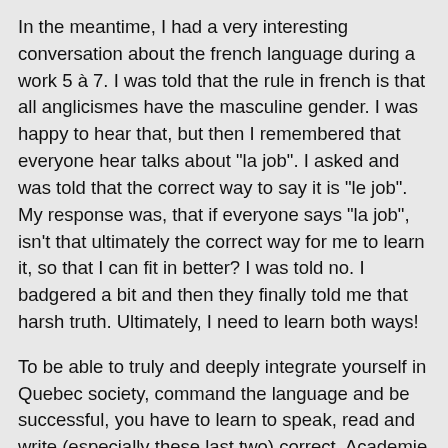In the meantime, I had a very interesting conversation about the french language during a work 5 à 7. I was told that the rule in french is that all anglicismes have the masculine gender. I was happy to hear that, but then I remembered that everyone hear talks about "la job". I asked and was told that the correct way to say it is "le job". My response was, that if everyone says "la job", isn't that ultimately the correct way for me to learn it, so that I can fit in better? I was told no. I badgered a bit and then they finally told me that harsh truth. Ultimately, I need to learn both ways!
To be able to truly and deeply integrate yourself in Quebec society, command the language and be successful, you have to learn to speak, read and write (especially these last two) correct, Academie Française french. But to be able to hang out comfortably, talk smack, laugh, joke and curse people out, you've got to be able to speak some good Québécoise. Our comms officer here told me it was a dilemma for her. She is quite well-educated but is also a Québécoise. When she approaches a journalist, she has to use correct french in order to present herself as a serious professional. But she is also wary about coming off as a snob.